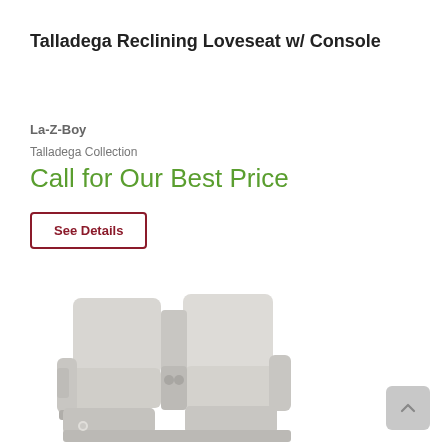Talladega Reclining Loveseat w/ Console
La-Z-Boy
Talladega Collection
Call for Our Best Price
See Details
[Figure (photo): Light gray leather reclining loveseat with center console, two cup holders, and reclining backrests — La-Z-Boy Talladega Collection product photo on white background]